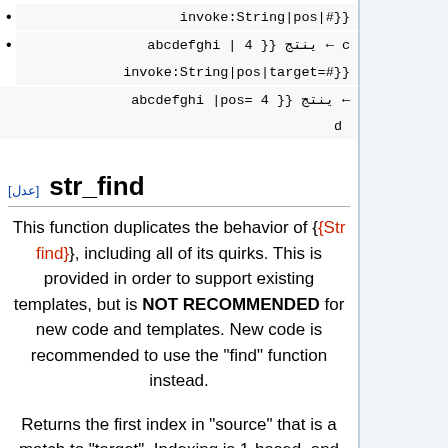invoke:String|pos|#}}
c ← ينتج {{ abcdefghi | 4 invoke:String|pos|target=#}}
← ينتج {{ abcdefghi |pos= 4 d
str_find [عدل]
This function duplicates the behavior of {{Str find}}, including all of its quirks. This is provided in order to support existing templates, but is NOT RECOMMENDED for new code and templates. New code is recommended to use the "find" function instead.
Returns the first index in "source" that is a match to "target". Indexing is 1-based, and the function returns